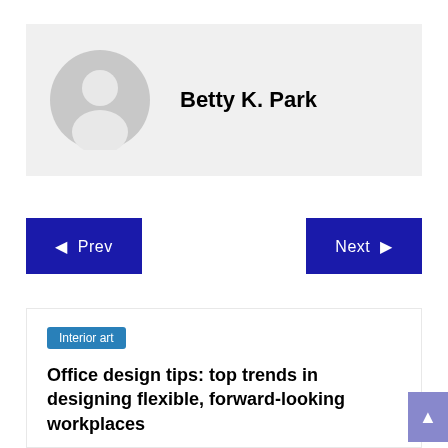[Figure (illustration): Author profile card with generic grey avatar silhouette icon and name Betty K. Park]
Betty K. Park
◄  Prev
Next  ►
Interior art
Office design tips: top trends in designing flexible, forward-looking workplaces